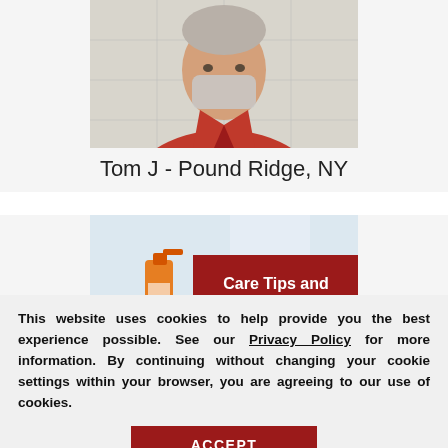[Figure (photo): Person wearing red polo shirt and face mask, upper body portrait, cropped at chest level]
Tom J - Pound Ridge, NY
[Figure (photo): Image showing cleaning spray bottle with a dark red banner overlay reading 'Care Tips and Products']
This website uses cookies to help provide you the best experience possible. See our Privacy Policy for more information. By continuing without changing your cookie settings within your browser, you are agreeing to our use of cookies.
ACCEPT